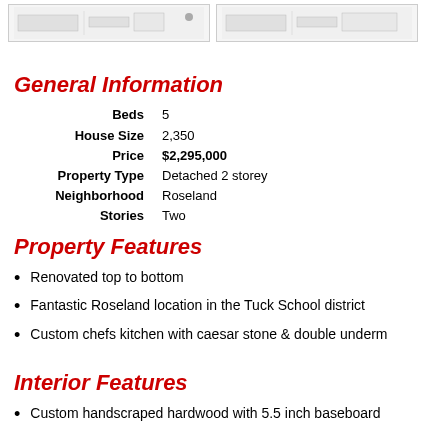[Figure (screenshot): Two small floor plan or map thumbnail images side by side at top of page]
General Information
| Beds | 5 |
| House Size | 2,350 |
| Price | $2,295,000 |
| Property Type | Detached 2 storey |
| Neighborhood | Roseland |
| Stories | Two |
Property Features
Renovated top to bottom
Fantastic Roseland location in the Tuck School district
Custom chefs kitchen with caesar stone & double underm
Interior Features
Custom handscraped hardwood with 5.5 inch baseboard